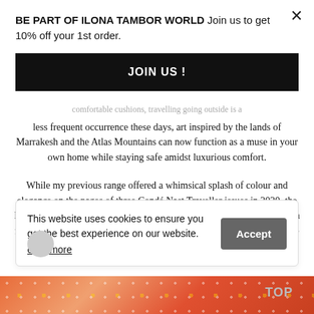BE PART OF ILONA TAMBOR WORLD Join us to get 10% off your 1st order.
JOIN US !
comfortable cushions, travelling going outside is a less frequent occurrence these days, art inspired by the lands of Marrakesh and the Atlas Mountains can now function as a muse in your own home while staying safe amidst luxurious comfort.
While my previous range offered a whimsical splash of colour and elegance on the pages of three Condé Nast Traveller issues in 2020, the latest collection brings extends its reach. The Ilona Tambor label offers a new variation of silk scarf, along with a home décor option to illuminate interior spaces
ILONA TAMBOR
This website uses cookies to ensure you get the best experience on our website.
Learn more
Accept
TOP
[Figure (photo): Colorful product image at bottom of page with orange/red tones and pattern]